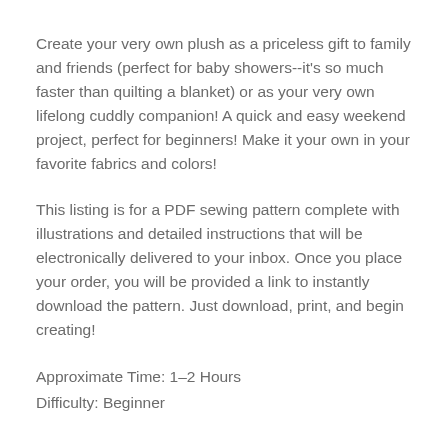Create your very own plush as a priceless gift to family and friends (perfect for baby showers--it's so much faster than quilting a blanket) or as your very own lifelong cuddly companion! A quick and easy weekend project, perfect for beginners! Make it your own in your favorite fabrics and colors!
This listing is for a PDF sewing pattern complete with illustrations and detailed instructions that will be electronically delivered to your inbox. Once you place your order, you will be provided a link to instantly download the pattern. Just download, print, and begin creating!
Approximate Time: 1–2 Hours
Difficulty: Beginner